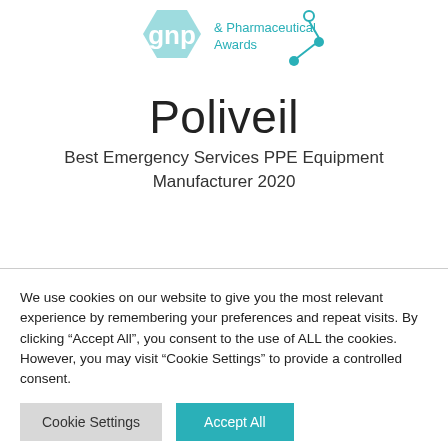[Figure (logo): GNP (Good Nutrition Practice) & Pharmaceutical Awards logo with hexagon shape and teal color scheme, plus a connected-dots graphic element on the right]
Poliveil
Best Emergency Services PPE Equipment Manufacturer 2020
We use cookies on our website to give you the most relevant experience by remembering your preferences and repeat visits. By clicking “Accept All”, you consent to the use of ALL the cookies. However, you may visit “Cookie Settings” to provide a controlled consent.